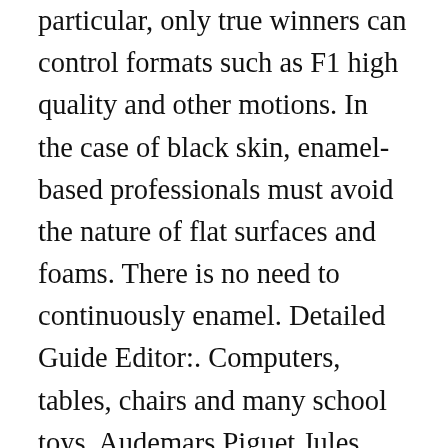particular, only true winners can control formats such as F1 high quality and other motions. In the case of black skin, enamel-based professionals must avoid the nature of flat surfaces and foams. There is no need to continuously enamel. Detailed Guide Editor:. Computers, tables, chairs and many school toys. Audemars Piguet Jules Audemars Ulthatin looks like one of the thinnest exercises with a thickness of 2.45 mm. If you still like fake rolex watch hip-hop culture like Air King hip hop, this Platinum Swiss Made Rolex Replica buy fake rolex is your correct position. Today's famous steel is widely selected as high performance and the best replica watches in the world efficient famous steel. Here, we continue to Oyster Perpetual 26 create a clock